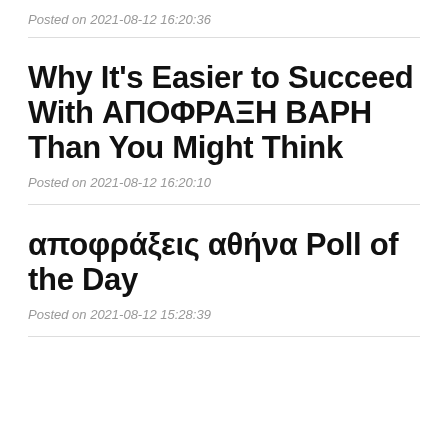Posted on 2021-08-12 16:20:36
Why It's Easier to Succeed With ΑΠΟΦΡΑΞΗ ΒΑΡΗ Than You Might Think
Posted on 2021-08-12 16:20:10
αποφράξεις αθήνα Poll of the Day
Posted on 2021-08-12 15:28:39